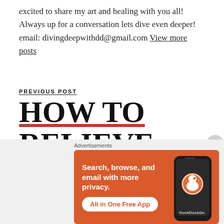excited to share my art and healing with you all! Always up for a conversation lets dive even deeper! email: divingdeepwithdd@gmail.com View more posts
PREVIOUS POST
HOW TO RELIEVE TENSION
[Figure (infographic): DuckDuckGo advertisement banner with orange background, text 'Search, browse, and email with more privacy. All in One Free App' and an image of a smartphone with the DuckDuckGo duck logo.]